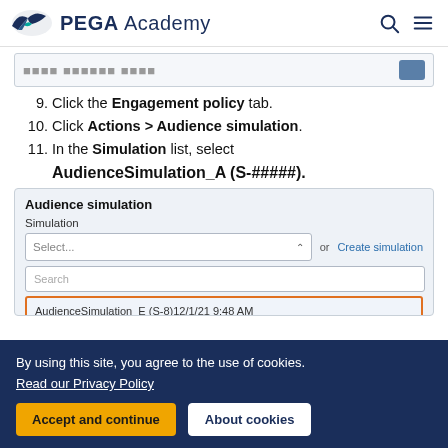PEGA Academy
[Figure (screenshot): Partial UI screenshot showing a text input area with a blurred/redacted label and a dark button]
9. Click the Engagement policy tab.
10. Click Actions > Audience simulation.
11. In the Simulation list, select AudienceSimulation_A (S-#####).
[Figure (screenshot): Audience simulation UI panel showing a Simulation dropdown with Select... placeholder, a Search field, and a highlighted result row: AudienceSimulation_E (S-8)12/1/21 9:48 AM with orange border]
By using this site, you agree to the use of cookies.
Read our Privacy Policy
Accept and continue   About cookies